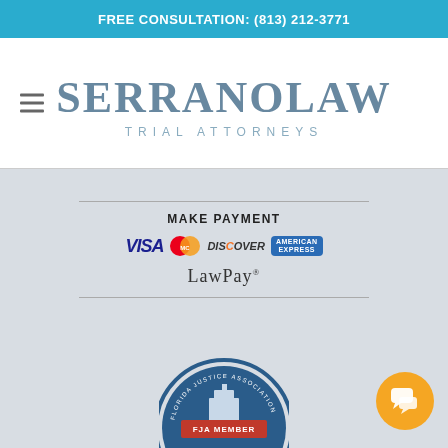FREE CONSULTATION: (813) 212-3771
[Figure (logo): Serrano Law Trial Attorneys logo — large serif text SERRANOLAW with TRIAL ATTORNEYS beneath in spaced caps]
[Figure (infographic): Make Payment panel with VISA, MasterCard, Discover, American Express card logos and LawPay branding]
[Figure (logo): Florida Justice Association FJA Member badge/seal — partially visible at bottom]
[Figure (illustration): Orange circular chat/message button in bottom-right corner]